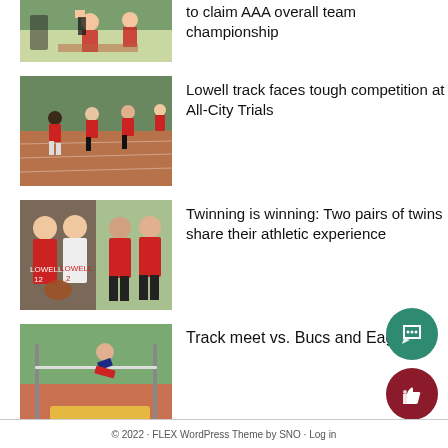[Figure (photo): Athletes running on a track field, partial view at top of page]
to claim AAA overall team championship
[Figure (photo): Runners competing on a red track at All-City Trials]
Lowell track faces tough competition at All-City Trials
[Figure (photo): Two pairs of twins: two girls in Lowell basketball jerseys and two boys in track uniforms]
Twinning is winning: Two pairs of twins share their athletic experience
[Figure (photo): Athlete performing high jump at a track meet]
Track meet vs. Bucs and Eagles
© 2022 · FLEX WordPress Theme by SNO · Log in